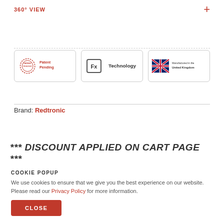360° VIEW
[Figure (logo): Patent Pending badge with red stamp icon]
[Figure (logo): Fx Technology badge]
[Figure (logo): Manufactured in the United Kingdom badge with Union Jack flag]
Brand: Redtronic
*** DISCOUNT APPLIED ON CART PAGE ***
COOKIE POPUP
We use cookies to ensure that we give you the best experience on our website. Please read our Privacy Policy for more information.
CLOSE